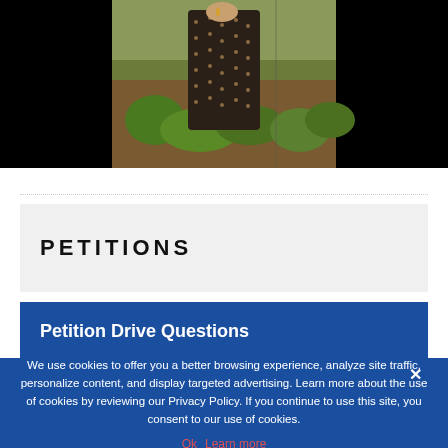[Figure (photo): A woman in a dark polka-dot dress standing outdoors with grass and trees in the background. The photo is cropped to show the torso and lower body. Black bars flank the image on both sides.]
PETITIONS
Petition Drive Questions
We use cookies to offer you a better browsing experience, analyze site traffic, personalize content, and display targeted advertising. Learn more about the use of cookies by reviewing our Privacy Policy. If you continue to use this site, you consent to our use of cookies.
Ok  Learn more